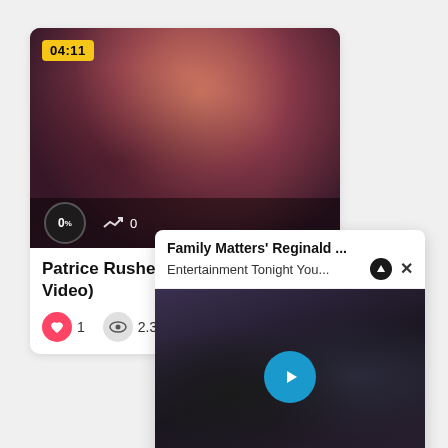[Figure (screenshot): Video thumbnail showing a close-up blurred face with a yellow duration badge showing 04:11, and overlay bar with 0% circle and trend icon with 0]
Patrice Rusher Video)
1  2.3K
[Figure (screenshot): Popup notification card showing 'Family Matters' Reginald ...' title, 'Entertainment Tonight You...' subtitle with up and close buttons, and a video thumbnail with two men and a play button overlay]
[Figure (screenshot): Bottom bar with bell notification icon and clock icon buttons]